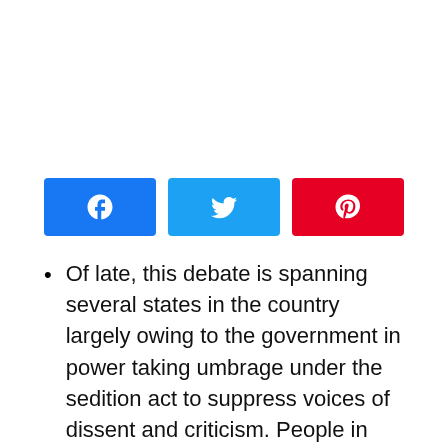[Figure (other): Social media share buttons: Facebook (blue), Twitter (cyan), Pinterest (red)]
Of late, this debate is spanning several states in the country largely owing to the government in power taking umbrage under the sedition act to suppress voices of dissent and criticism. People in the know would vouch about the minuscule use of the act during earlier times. However, it has seen an exponential increase in the last few years. Of course, the Supreme Court is appraised of the situation since several petitions questioning the legality of the [continues]